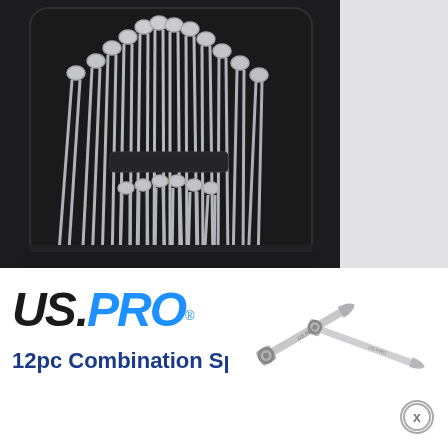[Figure (photo): Top-down view of a wrench/spanner set arranged in a black tool case/tray, showing multiple chrome combination spanners fanned out in an arc pattern]
[Figure (photo): Gray/white panel on the right side of the page, partially visible]
[Figure (logo): US.PRO brand logo in italic bold font, US in black and PRO in blue with registered trademark symbol]
12pc Combination Spanners
[Figure (photo): Photo of combination spanners/wrenches crossed over each other on white background with US PRO branding visible]
[Figure (other): Close button (X in circle) in bottom right corner]